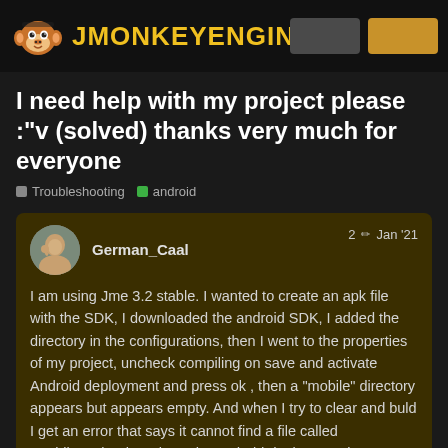jMonkeyEngine
I need help with my project please :"v (solved) thanks very much for everyone
Troubleshooting   android
German_Caal   2   Jan '21
I am using Jme 3.2 stable. I wanted to create an apk file with the SDK, I downloaded the android SDK, I added the directory in the configurations, then I went to the properties of my project, uncheck compiling on save and activate Android deployment and press ok , then a "mobile" directory appears but appears empty. And when I try to clear and buld I get an error that says it cannot find a file called “mobile.xml”, also where the android deployment is activated, the Android versio that normal? Does anyone know how to fix
1 / 13